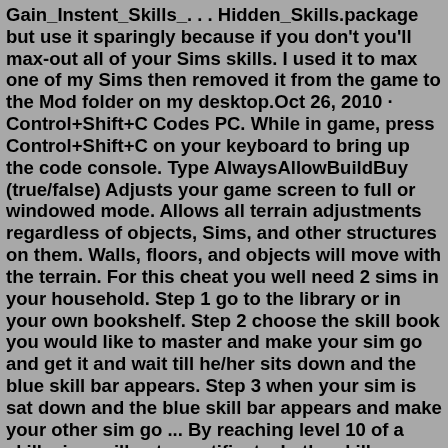Gain_Instent_Skills_. . . Hidden_Skills.package but use it sparingly because if you don't you'll max-out all of your Sims skills. I used it to max one of my Sims then removed it from the game to the Mod folder on my desktop.Oct 26, 2010 · Control+Shift+C Codes PC. While in game, press Control+Shift+C on your keyboard to bring up the code console. Type AlwaysAllowBuildBuy (true/false) Adjusts your game screen to full or windowed mode. Allows all terrain adjustments regardless of objects, Sims, and other structures on them. Walls, fl oors, and objects will move with the terrain. For this cheat you well need 2 sims in your household. Step 1 go to the library or in your own bookshelf. Step 2 choose the skill book you would like to master and make your sim go and get it and wait till he/her sits down and the blue skill bar appears. Step 3 when your sim is sat down and the blue skill bar appears and make your other sim go ... By reaching level 10 of a skill, sims will get a certificate. In the skill journal, there is a tab that shows you details about the skill such as level